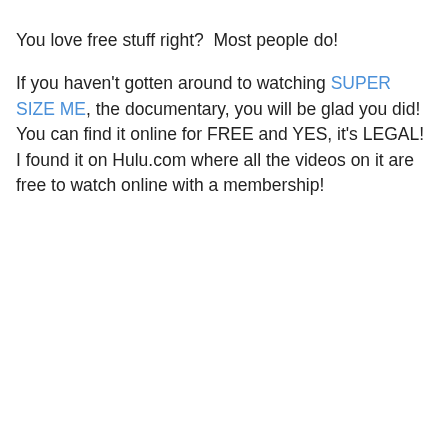You love free stuff right?  Most people do!
If you haven't gotten around to watching SUPER SIZE ME, the documentary, you will be glad you did!  You can find it online for FREE and YES, it's LEGAL!  I found it on Hulu.com where all the videos on it are free to watch online with a membership!